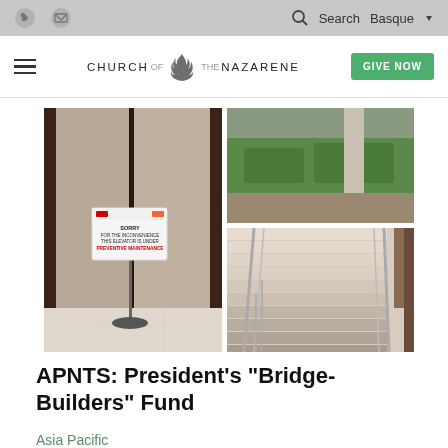Church of the Nazarene — Search | Basque
[Figure (photo): Three photos: left shows an elevator with a sign 'Sorry for the inconvenience this elevator is under preventive maintenance'; top right shows a green courtyard/garden area from above; bottom right shows a staircase with chrome railings.]
APNTS: President's "Bridge-Builders" Fund
Asia Pacific